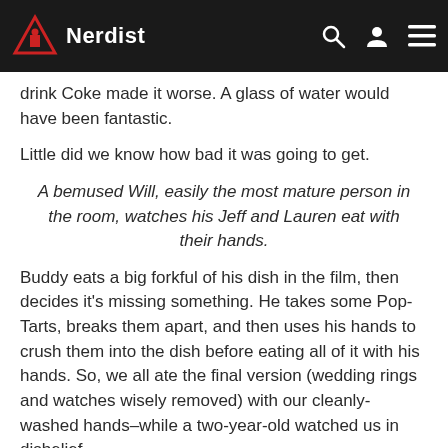Nerdist
drink Coke made it worse. A glass of water would have been fantastic.
Little did we know how bad it was going to get.
A bemused Will, easily the most mature person in the room, watches his Jeff and Lauren eat with their hands.
Buddy eats a big forkful of his dish in the film, then decides it's missing something. He takes some Pop-Tarts, breaks them apart, and then uses his hands to crush them into the dish before eating all of it with his hands. So, we all ate the final version (wedding rings and watches wisely removed) with our cleanly-washed hands–while a two-year-old watched us in disbelief.
It was bad.
[Figure (screenshot): Media error box: 'Media error: Format(s) not supported or source(s) not found' with download link http://nerdist.com/wp-content/uploads/2018/12/video-elf-spaghetti.mp4?_=1]